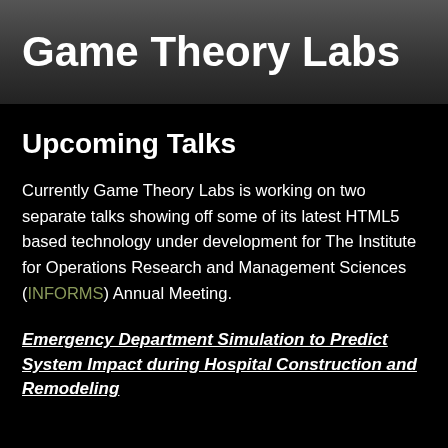Game Theory Labs
Upcoming Talks
Currently Game Theory Labs is working on two separate talks showing off some of its latest HTML5 based technology under development for The Institute for Operations Research and Management Sciences (INFORMS) Annual Meeting.
Emergency Department Simulation to Predict System Impact during Hospital Construction and Remodeling